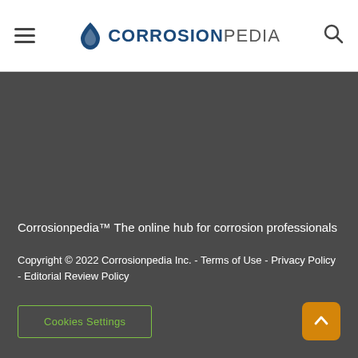CORROSIONPEDIA
Corrosionpedia™ The online hub for corrosion professionals
Copyright © 2022 Corrosionpedia Inc. - Terms of Use - Privacy Policy - Editorial Review Policy
Cookies Settings